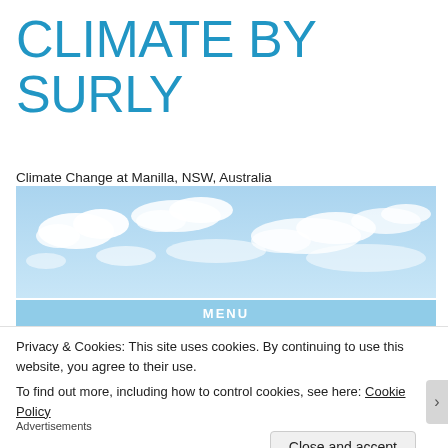CLIMATE BY SURLY
Climate Change at Manilla, NSW, Australia
[Figure (photo): Wide banner photo of a blue sky with scattered white cumulus clouds]
MENU
Privacy & Cookies: This site uses cookies. By continuing to use this website, you agree to their use.
To find out more, including how to control cookies, see here: Cookie Policy
Close and accept
Advertisements